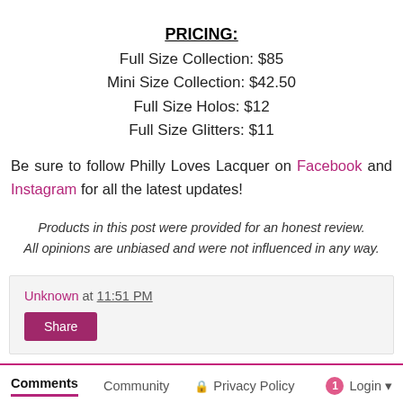PRICING:
Full Size Collection: $85
Mini Size Collection: $42.50
Full Size Holos: $12
Full Size Glitters: $11
Be sure to follow Philly Loves Lacquer on Facebook and Instagram for all the latest updates!
Products in this post were provided for an honest review. All opinions are unbiased and were not influenced in any way.
Unknown at 11:51 PM
Share
Comments  Community  Privacy Policy  1  Login